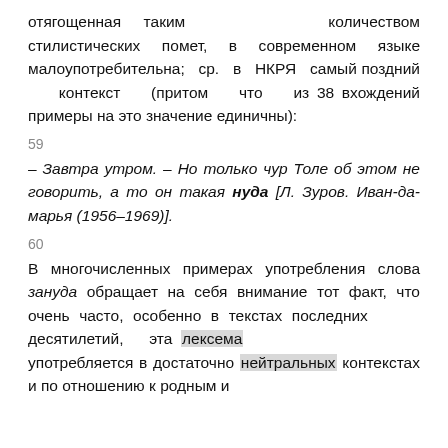отягощенная таким количеством стилистических помет, в современном языке малоупотребительна; ср. в НКРЯ самый поздний контекст (притом что из 38 вхождений примеры на это значение единичны):
59
– Завтра утром. – Но только чур Толе об этом не говорить, а то он такая нуда [Л. Зуров. Иван-да-марья (1956–1969)].
60
В многочисленных примерах употребления слова зануда обращает на себя внимание тот факт, что очень часто, особенно в текстах последних десятилетий, эта лексема употребляется в достаточно нейтральных контекстах и по отношению к родным и